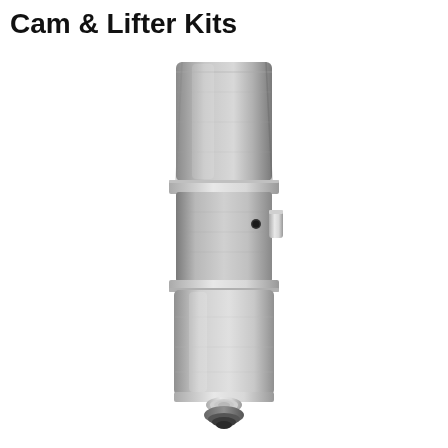Cam & Lifter Kits
[Figure (photo): A cylindrical hydraulic valve lifter / cam follower component made of machined steel. The part has a multi-section cylindrical body with a hex-shaped top section, a middle section with a small oil port hole and a retaining clip groove, a larger lower cylindrical section, and a rounded bottom tip with a small circular button/plunger visible at the base. The component is photographed against a white background.]